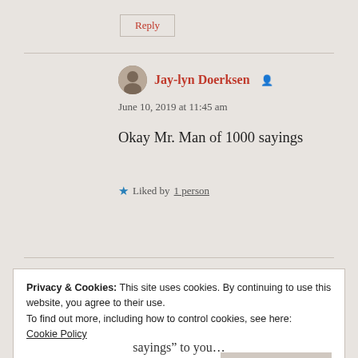Reply
Jay-lyn Doerksen
June 10, 2019 at 11:45 am
Okay Mr. Man of 1000 sayings
★ Liked by 1 person
Privacy & Cookies: This site uses cookies. By continuing to use this website, you agree to their use.
To find out more, including how to control cookies, see here: Cookie Policy
Close and accept
sayings” to you…